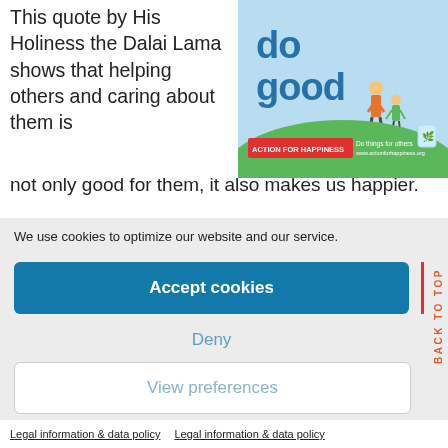This quote by His Holiness the Dalai Lama shows that helping others and caring about them is not only good for them, it also makes us happier.
[Figure (illustration): Action for Happiness 'do good' promotional image with cartoon figures and text 'Do things for others www.actionforhappiness.org']
We use cookies to optimize our website and our service.
Accept cookies
Deny
View preferences
BACK TO TOP
Legal information & data policy   Legal information & data policy